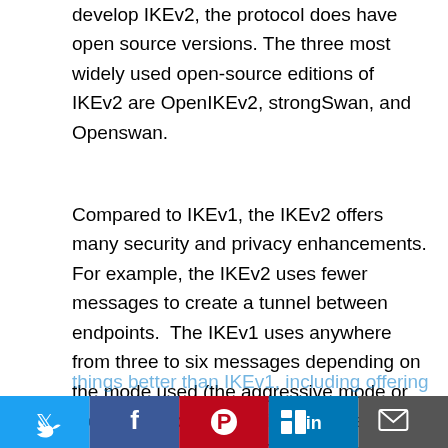develop IKEv2, the protocol does have open source versions. The three most widely used open-source editions of IKEv2 are OpenIKEv2, strongSwan, and Openswan.
Compared to IKEv1, the IKEv2 offers many security and privacy enhancements. For example, the IKEv2 uses fewer messages to create a tunnel between endpoints.  The IKEv1 uses anywhere from three to six messages depending on the mode used (the aggressive mode or the main mode respectively), while the IKEv2 uses four. The IKEv2 does many other things better than IKEv1, including offering...
[Figure (other): Social sharing bar with Twitter, Facebook, Pinterest, LinkedIn, and Email buttons at the bottom of the page]